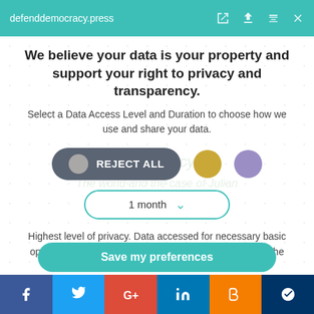defenddemocracy.press
We believe your data is your property and support your right to privacy and transparency.
Select a Data Access Level and Duration to choose how we use and share your data.
[Figure (screenshot): Privacy controls UI with REJECT ALL button (grey pill), gold circle, purple circle, and 1 month dropdown selector]
Highest level of privacy. Data accessed for necessary basic operations only. Data shared with 3rd parties to ensure the site is secure and works on your device
Save my preferences
[Figure (infographic): Social media sharing bar with Facebook, Twitter, Google+, LinkedIn, Blogger, and MeWe icons]